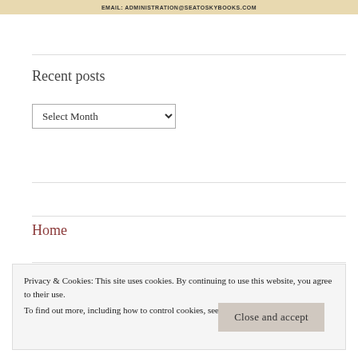EMAIL: ADMINISTRATION@SEATOSKYBOOKS.COM
Recent posts
Select Month
Home
Privacy & Cookies: This site uses cookies. By continuing to use this website, you agree to their use.
To find out more, including how to control cookies, see here: Cookie Policy
Close and accept